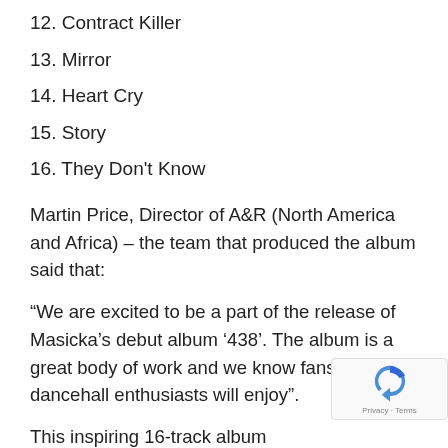12. Contract Killer
13. Mirror
14. Heart Cry
15. Story
16. They Don't Know
Martin Price, Director of A&R (North America and Africa) – the team that produced the album said that:
“We are excited to be a part of the release of Masicka’s debut album ‘438’. The album is a great body of work and we know fans and dancehall enthusiasts will enjoy”.
This inspiring 16-track album includes collaborati with international star Sean Paul, Popcaan, Stefflon Don,